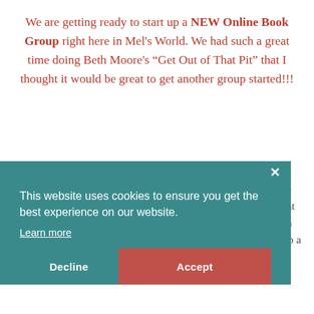We are getting ready to start up a NEW Online Book Group right here in Mel's World. We had such a great time doing Beth Moore's “Get Out of That Pit” that I thought it would be great to get another group started!!!
I have already contacted Dr. Leslie Parrott and her team at the exchange about this, and they are excited and ready to see what God does through this group. You can order this book through Amazon.com or go to your local Christian book store to pick up a copy.
This website uses cookies to ensure you get the best experience on our website.
Learn more
Decline  Accept